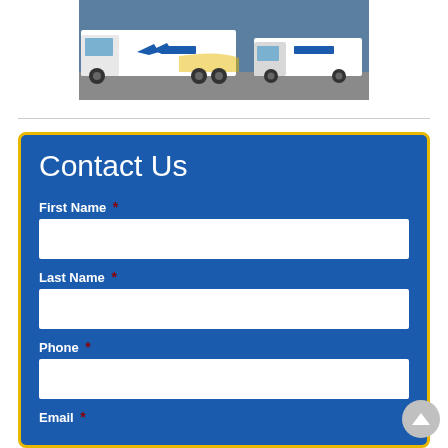[Figure (photo): United Van Lines moving trucks - white semi truck and moving truck with blue and yellow United logo and wing graphic]
Contact Us
First Name *
Last Name *
Phone *
Email *